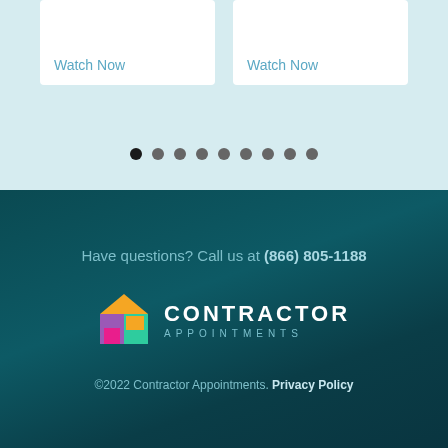Watch Now
Watch Now
Have questions? Call us at (866) 805-1188
[Figure (logo): Contractor Appointments logo with colorful house icon and white/teal text]
©2022 Contractor Appointments. Privacy Policy